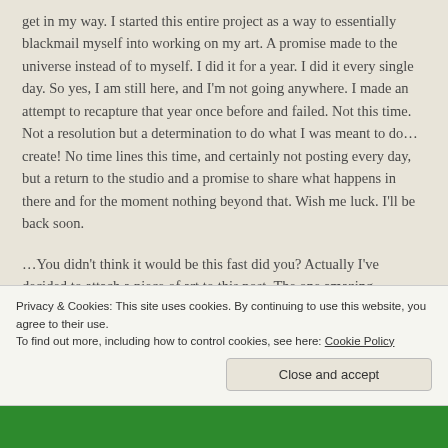get in my way. I started this entire project as a way to essentially blackmail myself into working on my art. A promise made to the universe instead of to myself. I did it for a year. I did it every single day. So yes, I am still here, and I'm not going anywhere. I made an attempt to recapture that year once before and failed. Not this time. Not a resolution but a determination to do what I was meant to do…create! No time lines this time, and certainly not posting every day, but a return to the studio and a promise to share what happens in there and for the moment nothing beyond that. Wish me luck. I'll be back soon.
…You didn't think it would be this fast did you? Actually I've decided to attach a piece of art to this post. The one amazing
Privacy & Cookies: This site uses cookies. By continuing to use this website, you agree to their use.
To find out more, including how to control cookies, see here: Cookie Policy
Close and accept